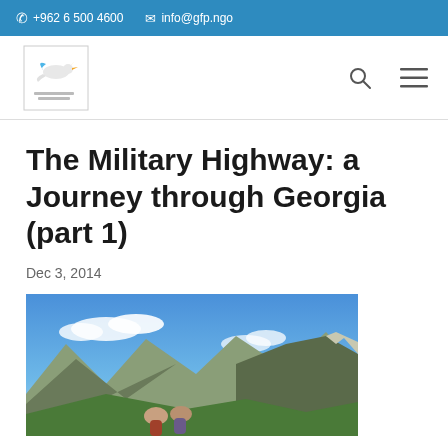+962 6 500 4600  info@gfp.ngo
[Figure (logo): GFP NGO logo with bird and Arabic text]
The Military Highway: a Journey through Georgia (part 1)
Dec 3, 2014
[Figure (photo): Two people standing in front of mountain landscape with blue sky and clouds]